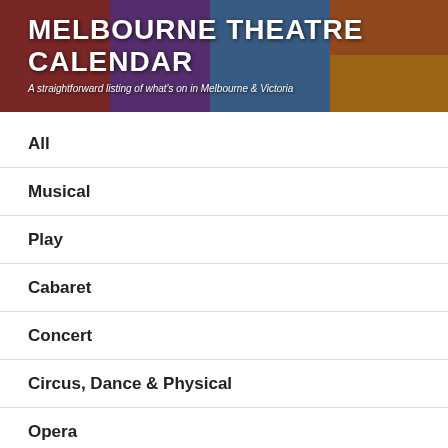[Figure (illustration): Melbourne Theatre Calendar website header banner with colorful theatrical show posters as background collage]
MELBOURNE THEATRE CALENDAR
A straightforward listing of what's on in Melbourne & Victoria
All
Musical
Play
Cabaret
Concert
Circus, Dance & Physical
Opera
Add Your Event